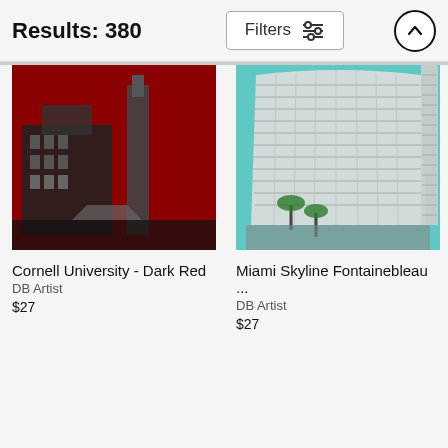Results: 380
Filters
[Figure (photo): Cornell University - Dark Red art print showing a building with dark red background]
Cornell University - Dark Red
DB Artist
$27
[Figure (photo): Miami Skyline Fontainebleau art print showing hotel building with teal background]
Miami Skyline Fontainebleau ...
DB Artist
$27